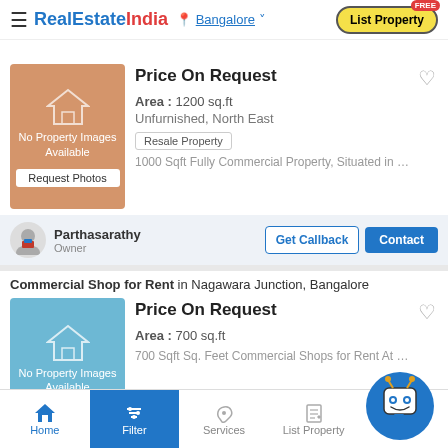RealEstateIndia — Bangalore — List Property
Price On Request — Area : 1200 sq.ft — Unfurnished, North East — Resale Property — 1000 Sqft Fully Commercial Property, Situated in Service Ro...
Parthasarathy — Owner — Get Callback — Contact
Commercial Shop for Rent in Nagawara Junction, Bangalore
Price On Request — Area : 700 sq.ft — 700 Sqft Sq. Feet Commercial Shops for Rent At Nagawara J...
Fahim — Owner — Get Callback — Contact
Home | Filter | Services | List Property | More